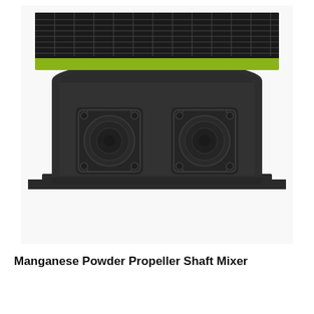[Figure (photo): A Manganese Powder Propeller Shaft Mixer viewed from the front end. The machine has a large dark grey/charcoal rectangular body with a yellow-green top frame holding a metal grid/grate. On the front face are two circular shaft/bearing housings mounted side by side, each with bolted square flanges and concentric circular detail. The unit sits on a flat base plate.]
Manganese Powder Propeller Shaft Mixer